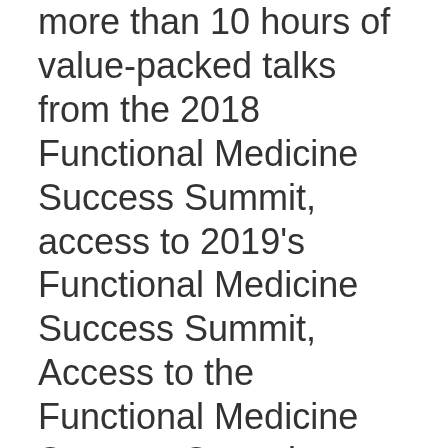more than 10 hours of value-packed talks from the 2018 Functional Medicine Success Summit, access to 2019's Functional Medicine Success Summit, Access to the Functional Medicine Success Summit Facebook Page, AND the contact information for all our vendors and sponsors. A total value of $5,500 for the low cost of $997. And you have my personal 30-day money back guarantee.